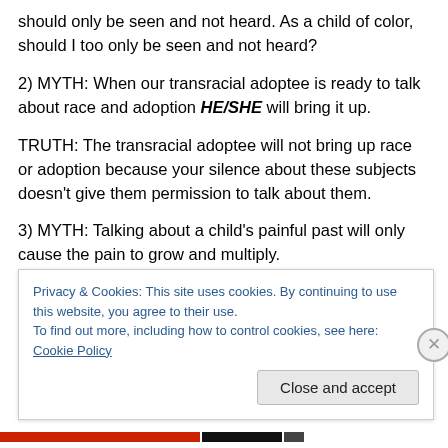should only be seen and not heard.  As a child of color, should I too only be seen and not heard?
2)  MYTH:  When our transracial adoptee is ready to talk about race and adoption HE/SHE will bring it up.
TRUTH:   The transracial adoptee will not bring up race or adoption because your silence about these subjects doesn't give them permission to talk about them.
3)  MYTH:  Talking about a child's painful past will only cause the pain to grow and multiply.
Privacy & Cookies: This site uses cookies. By continuing to use this website, you agree to their use.
To find out more, including how to control cookies, see here: Cookie Policy
Close and accept